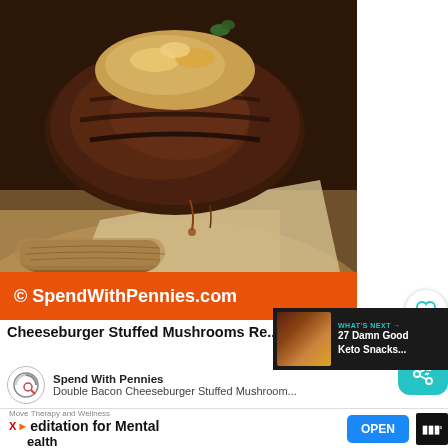[Figure (photo): Close-up food photo of a cheeseburger stuffed portobello mushroom on parchment paper on a wooden cutting board, with melted cheese and toppings visible, warm brown tones]
© SpendWithPennies.com
Cheeseburger Stuffed Mushrooms Re...
WHAT'S NEXT → 27 Damn Good Keto Snacks...
Spend With Pennies
Double Bacon Cheeseburger Stuffed Mushroom...
Move Therapy and Wellness
Meditation for Mental Health
OPEN